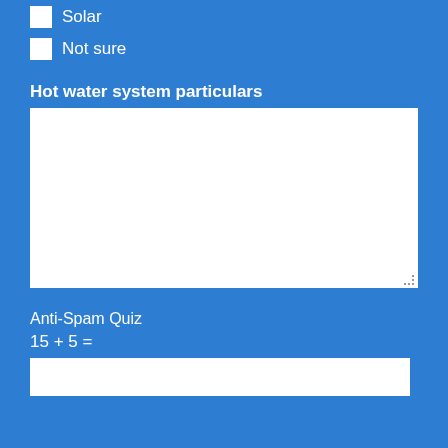Solar
Not sure
Hot water system particulars
[textarea - empty]
Anti-Spam Quiz
15 + 5 =
[answer input field]